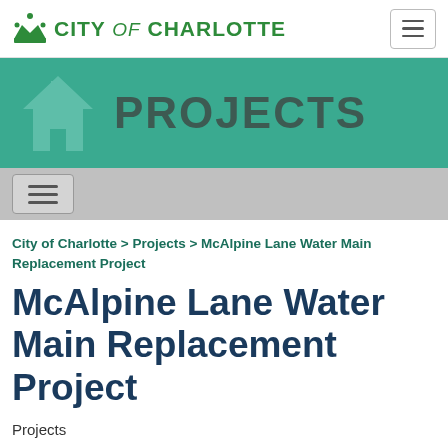CITY of CHARLOTTE
[Figure (logo): City of Charlotte logo with crown icon and text CITY of CHARLOTTE in green]
PROJECTS
City of Charlotte > Projects > McAlpine Lane Water Main Replacement Project
McAlpine Lane Water Main Replacement Project
Projects